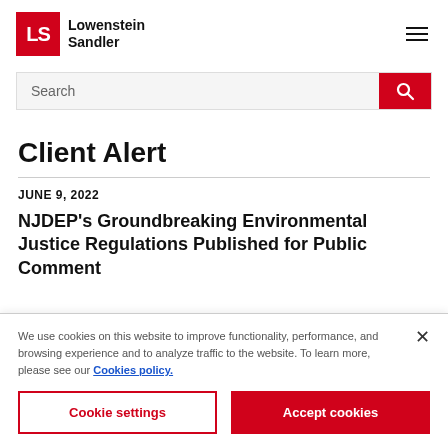Lowenstein Sandler
[Figure (screenshot): Search bar with red search button icon]
Client Alert
JUNE 9, 2022
NJDEP's Groundbreaking Environmental Justice Regulations Published for Public Comment
We use cookies on this website to improve functionality, performance, and browsing experience and to analyze traffic to the website. To learn more, please see our Cookies policy.